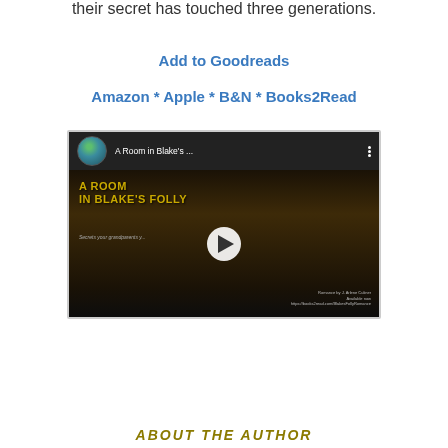their secret has touched three generations.
Add to Goodreads
Amazon * Apple * B&N * Books2Read
[Figure (screenshot): YouTube video thumbnail for 'A Room in Blake's ...' showing book cover with dark atmospheric image and golden title text 'A Room in Blake's Folly'. Includes play button overlay, channel avatar, and video title in top bar.]
ABOUT THE AUTHOR